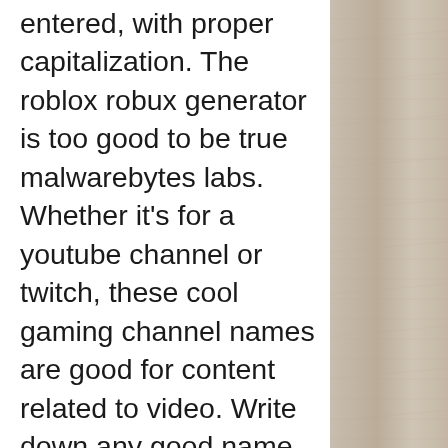entered, with proper capitalization. The roblox robux generator is too good to be true malwarebytes labs. Whether it's for a youtube channel or twitch, these cool gaming channel names are good for content related to video. Write down any good name you can think of to build up your list of gamertag ideas. Write down gamertags you admire. It turns out, some gamer names are. Ensure that your channel name is unique and no other channel or business is using it. Also read: instagram names for girls and boys: 100+ cute and cool username. For playstation 4 on the playstation 4, a gamefaqs message board topic titled &quot;best/worst usernames you've encountered gaming online. The daemon · daggers · the damned · daredevil · dark matter · darko · daydream · dazzler. Create the best channel username with kparser youtube name generator. It doesn't matter if you look for gaming, vlog or couple name